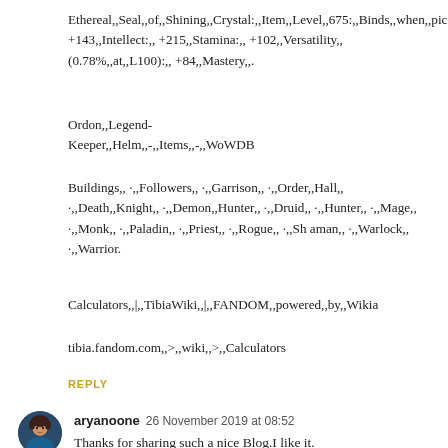Ethereal,,Seal,,of,,Shining,,Crystal:,,Item,,Level,,675:,,Binds,,when,,picked,,up:,,Finger:,, +143,,Intellect:,, +215,,Stamina:,, +102,,Versatility,,(0.78%,,at,,L100):,, +84,,Mastery,,.
Ordon,,Legend-Keeper,,Helm,,-,,Items,,-,,WoWDB
Buildings,, ·,,Followers,, ·,,Garrison,, ·,,Order,,Hall,, ·,,Death,,Knight,, ·,,Demon,,Hunter,, ·,,Druid,, ·,,Hunter,, ·,,Mage,, ·,,Monk,, ·,,Paladin,, ·,,Priest,, ·,,Rogue,, ·,,Shaman,, ·,,Warlock,, ·,,Warrior.
Calculators,,|,,TibiaWiki,,|,,FANDOM,,powered,,by,,Wikia
tibia.fandom.com,,>,,wiki,,>,,Calculators
REPLY
aryanoone  26 November 2019 at 08:52
Thanks for sharing such a nice Blog.I like it.
microsoft office 365 support